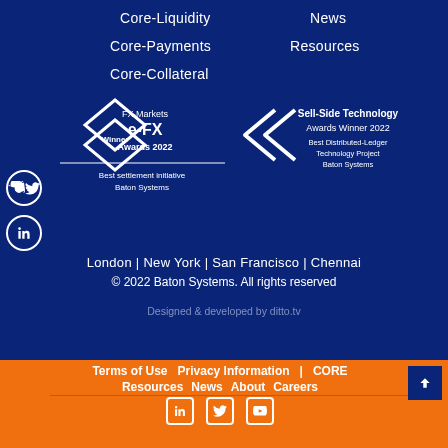Core-Liquidity
Core-Payments
Core-Collateral
News
Resources
[Figure (logo): FX Markets e-FX Awards 2022 Winner badge - Best settlement initiative Baton Systems]
[Figure (logo): Sell-Side Technology Awards Winner 2022 - Best Distributed-Ledger Technology Project Baton Systems]
London | New York | San Francisco | Chennai
© 2022 Baton Systems. All rights reserved
Designed & developed by ditto.tv
Terms of Use   Privacy Information   |   CORE   Resources   News   About   Careers